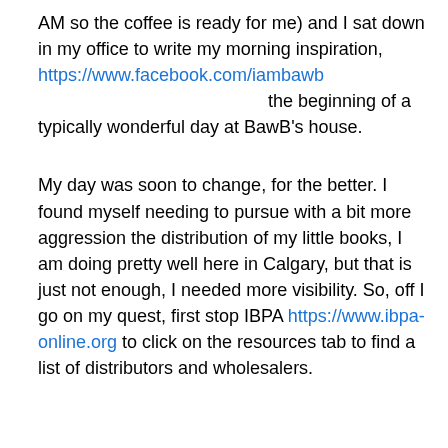AM so the coffee is ready for me) and I sat down in my office to write my morning inspiration, https://www.facebook.com/iambawb the beginning of a typically wonderful day at BawB's house.
My day was soon to change, for the better. I found myself needing to pursue with a bit more aggression the distribution of my little books, I am doing pretty well here in Calgary, but that is just not enough, I needed more visibility. So, off I go on my quest, first stop IBPA https://www.ibpa-online.org to click on the resources tab to find a list of distributors and wholesalers.